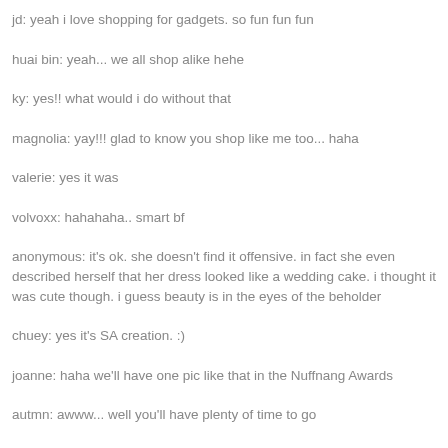jd: yeah i love shopping for gadgets. so fun fun fun
huai bin: yeah... we all shop alike hehe
ky: yes!! what would i do without that
magnolia: yay!!! glad to know you shop like me too... haha
valerie: yes it was
volvoxx: hahahaha.. smart bf
anonymous: it's ok. she doesn't find it offensive. in fact she even described herself that her dress looked like a wedding cake. i thought it was cute though. i guess beauty is in the eyes of the beholder
chuey: yes it's SA creation. :)
joanne: haha we'll have one pic like that in the Nuffnang Awards
autmn: awww... well you'll have plenty of time to go